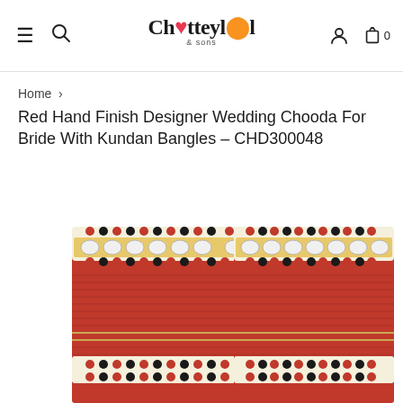Chotteylal & sons — navigation bar with hamburger menu, search, user and cart icons
Home >
Red Hand Finish Designer Wedding Chooda For Bride With Kundan Bangles – CHD300048
[Figure (photo): Two sets of red wedding Chooda bangles stacked together. Each stack features cream/ivory patterned bands with red and black dot decorations at top and middle, a row of sparkling Kundan (crystal) stones, and multiple thin red bangles in the main body. Photo shows the bangles standing upright on a white background.]